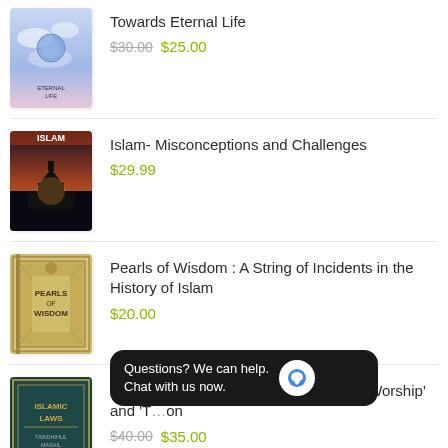[Figure (illustration): Book cover: Towards Eternal Life, blue sky with clouds]
Towards Eternal Life
$30.00 $25.00
[Figure (illustration): Book cover: ISLAM, sunset with mosque silhouette]
Islam- Misconceptions and Challenges
$29.99
[Figure (illustration): Book cover: Pearls of Wisdom, ornate pattern]
Pearls of Wisdom : A String of Incidents in the History of Islam
$20.00
[Figure (illustration): Book cover: Islamic Laws, dark teal cover]
Islamic laws - Tawdhihul Masail al-S[…] Worship' and 'T[…]on
$40.00 $35.00
Questions? We can help. Chat with us now.